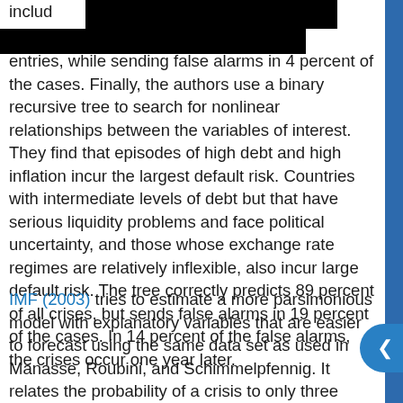includ experience. Poor [redacted] the entries, while sending false alarms in 4 percent of the cases. Finally, the authors use a binary recursive tree to search for nonlinear relationships between the variables of interest. They find that episodes of high debt and high inflation incur the largest default risk. Countries with intermediate levels of debt but that have serious liquidity problems and face political uncertainty, and those whose exchange rate regimes are relatively inflexible, also incur large default risk. The tree correctly predicts 89 percent of all crises, but sends false alarms in 19 percent of the cases. In 14 percent of the false alarms, the crises occur one year later.
IMF (2003) tries to estimate a more parsimonious model with explanatory variables that are easier to forecast using the same data set as used in Manasse, Roubini, and Schimmelpfennig. It relates the probability of a crisis to only three variables: the external debt ratio, the ratio of short-term debt to reserves, and the country's trade openness. The model predicts 88